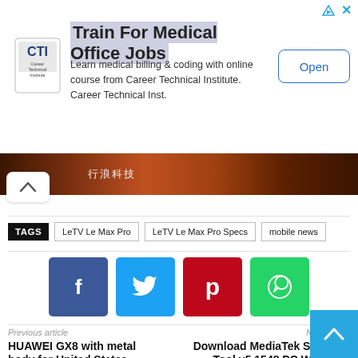[Figure (other): Advertisement banner for Career Technical Institute - Train For Medical Office Jobs with Open button]
[Figure (photo): Partial image strip showing dark brown textured background with Chinese text visible]
TAGS  LeTV Le Max Pro  LeTV Le Max Pro Specs  mobile news
[Figure (other): Social share buttons: Facebook, Twitter, Pinterest, WhatsApp]
Previous article
HUAWEI GX8 with metal body for United States
Next article
Download MediaTek SP Flash Tool v5.1548 PC Windows